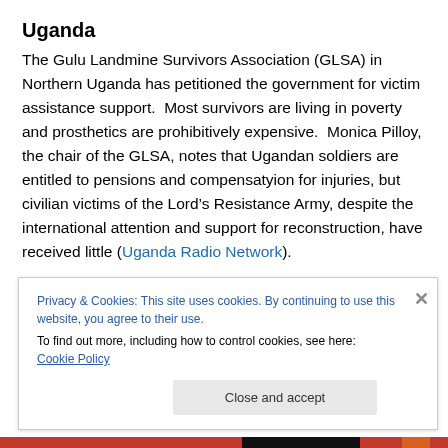Uganda
The Gulu Landmine Survivors Association (GLSA) in Northern Uganda has petitioned the government for victim assistance support.  Most survivors are living in poverty and prosthetics are prohibitively expensive.  Monica Pilloy, the chair of the GLSA, notes that Ugandan soldiers are entitled to pensions and compensatyion for injuries, but civilian victims of the Lord’s Resistance Army, despite the international attention and support for reconstruction, have received little (Uganda Radio Network).
Privacy & Cookies: This site uses cookies. By continuing to use this website, you agree to their use.
To find out more, including how to control cookies, see here: Cookie Policy
Close and accept